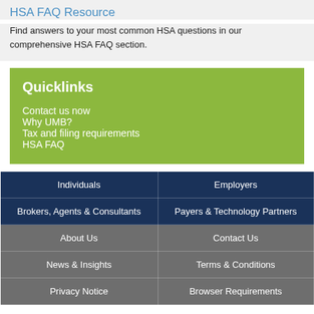HSA FAQ Resource
Find answers to your most common HSA questions in our comprehensive HSA FAQ section.
Quicklinks
Contact us now
Why UMB?
Tax and filing requirements
HSA FAQ
| Individuals | Employers |
| Brokers, Agents & Consultants | Payers & Technology Partners |
| About Us | Contact Us |
| News & Insights | Terms & Conditions |
| Privacy Notice | Browser Requirements |